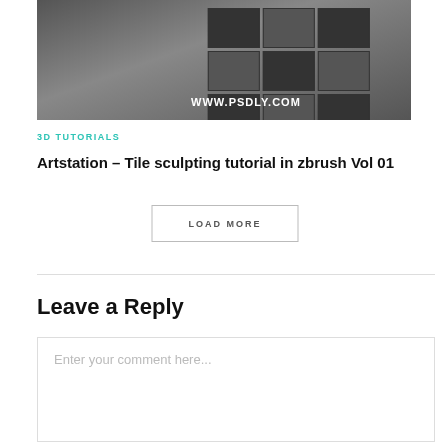[Figure (photo): A 3D rendered box/book product mockup on a dark gray background showing a 3x3 grid of texture images with 'WWW.PSDLY.COM' text visible on the front face]
3D TUTORIALS
Artstation – Tile sculpting tutorial in zbrush Vol 01
LOAD MORE
Leave a Reply
Enter your comment here...